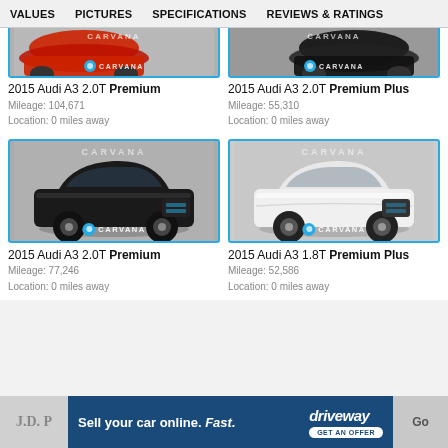VALUES  PICTURES  SPECIFICATIONS  REVIEWS & RATINGS
[Figure (photo): Partial top view of a red Audi A3 sedan with Carvana watermark and badge]
2015 Audi A3 2.0T Premium
Mileage: 104,671
Location: 0 miles away
[Figure (photo): Partial top view of a black Audi A3 sedan with Carvana watermark and badge]
2015 Audi A3 2.0T Premium Plus
Mileage: 55,310
Location: 0 miles away
[Figure (photo): Black Audi A3 2.0T sedan displayed in studio against gray background with Carvana badge]
2015 Audi A3 2.0T Premium
Mileage: 77,246
Location: 0 miles away
[Figure (photo): White Audi A3 1.8T sedan displayed in studio against gray background with Carvana badge]
2015 Audi A3 1.8T Premium Plus
Mileage: 52,586
Location: 0 miles away
Sell your car online. Fast. driveway GET AN OFFER